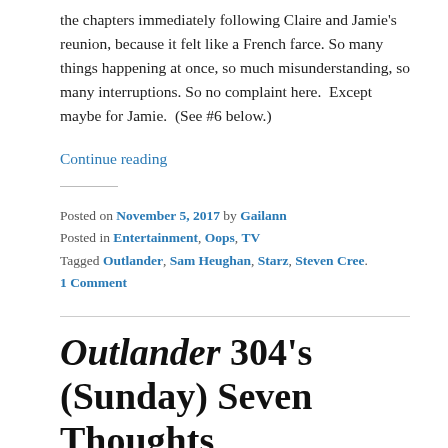the chapters immediately following Claire and Jamie's reunion, because it felt like a French farce. So many things happening at once, so much misunderstanding, so many interruptions. So no complaint here.  Except maybe for Jamie.  (See #6 below.)
Continue reading
Posted on November 5, 2017 by Gailann
Posted in Entertainment, Oops, TV
Tagged Outlander, Sam Heughan, Starz, Steven Cree.
1 Comment
Outlander 304's (Sunday) Seven Thoughts